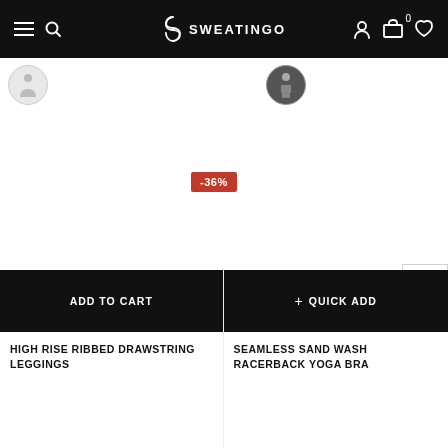SWEATINGO
[Figure (screenshot): E-commerce product listing page for Sweatingo activewear. Shows two product thumbnails, a -36% discount badge on the second product, two product cards at the bottom with ADD TO CART and QUICK ADD buttons, and product titles: HIGH RISE RIBBED DRAWSTRING LEGGINGS and SEAMLESS SAND WASH RACERBACK YOGA BRA]
ADD TO CART
+ QUICK ADD
HIGH RISE RIBBED DRAWSTRING LEGGINGS
SEAMLESS SAND WASH RACERBACK YOGA BRA